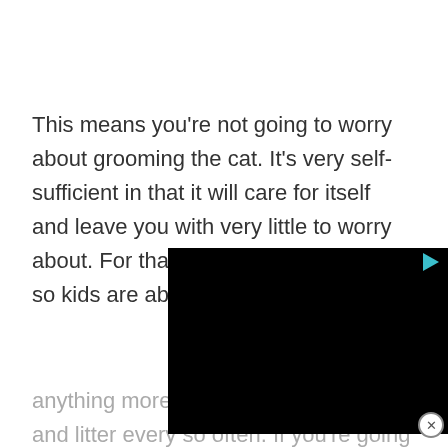This means you're not going to worry about grooming the cat. It's very self-sufficient in that it will care for itself and leave you with very little to worry about. For that reason kids. It doesn't so kids are able care and you'r
[Figure (other): Black video advertisement overlay covering part of the text, with a teal play button triangle in the top-right corner and a close (X) button in the bottom-right corner.]
anything more than purchase the food and litter every so often. If you're going